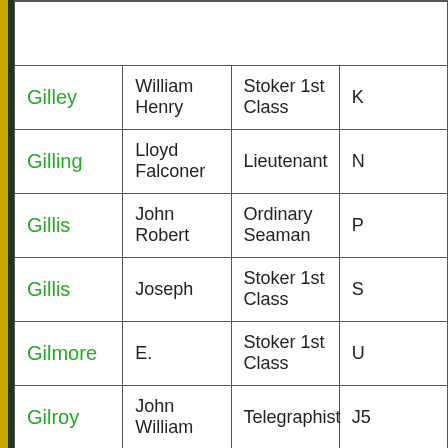| Surname | First Name | Rank | Ref |
| --- | --- | --- | --- |
| Gilley | William Henry | Stoker 1st Class | K… |
| Gilling | Lloyd Falconer | Lieutenant | N… |
| Gillis | John Robert | Ordinary Seaman | P… |
| Gillis | Joseph | Stoker 1st Class | S… |
| Gilmore | E. | Stoker 1st Class | U… |
| Gilroy | John William | Telegraphist | J5… |
| Glass | Alfred William | Petty Officer | J2… |